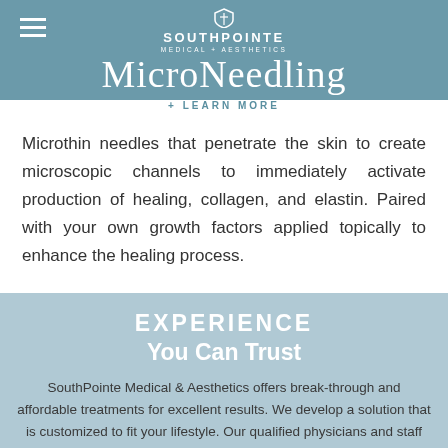SouthPointe Medical + Aesthetics
MicroNeedling
+ LEARN MORE
Microthin needles that penetrate the skin to create microscopic channels to immediately activate production of healing, collagen, and elastin. Paired with your own growth factors applied topically to enhance the healing process.
EXPERIENCE You Can Trust
SouthPointe Medical & Aesthetics offers break-through and affordable treatments for excellent results. We develop a solution that is customized to fit your lifestyle. Our qualified physicians and staff have trained with renowned leaders in the fields of laser aesthetics, non-surgical cosmetic